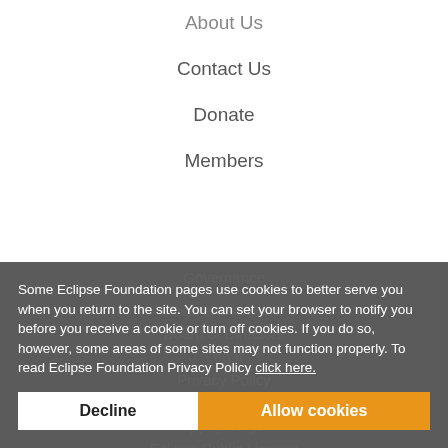About Us
Contact Us
Donate
Members
Governance
Logo and Artwork
Board of Directors
Legal
Privacy Policy
Terms of Use
Copyright Agent
Eclipse Public License
Legal Resources
Some Eclipse Foundation pages use cookies to better serve you when you return to the site. You can set your browser to notify you before you receive a cookie or turn off cookies. If you do so, however, some areas of some sites may not function properly. To read Eclipse Foundation Privacy Policy click here.
Decline
Allow cookies